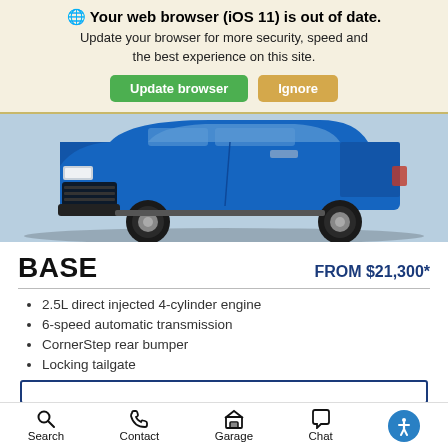Your web browser (iOS 11) is out of date. Update your browser for more security, speed and the best experience on this site. Update browser | Ignore
[Figure (photo): Front view of a blue pickup truck (Chevrolet Colorado) on a light blue/grey background, showing the front grille, headlights, wheels and lower body.]
BASE
FROM $21,300*
2.5L direct injected 4-cylinder engine
6-speed automatic transmission
CornerStep rear bumper
Locking tailgate
Search   Contact   Garage   Chat   [Accessibility]